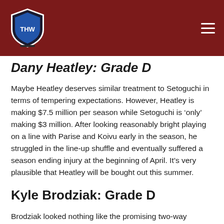THW (The Hockey Writers) logo and navigation
Dany Heatley: Grade D
Maybe Heatley deserves similar treatment to Setoguchi in terms of tempering expectations. However, Heatley is making $7.5 million per season while Setoguchi is ‘only’ making $3 million. After looking reasonably bright playing on a line with Parise and Koivu early in the season, he struggled in the line-up shuffle and eventually suffered a season ending injury at the beginning of April. It’s very plausible that Heatley will be bought out this summer.
Kyle Brodziak: Grade D
Brodziak looked nothing like the promising two-way center